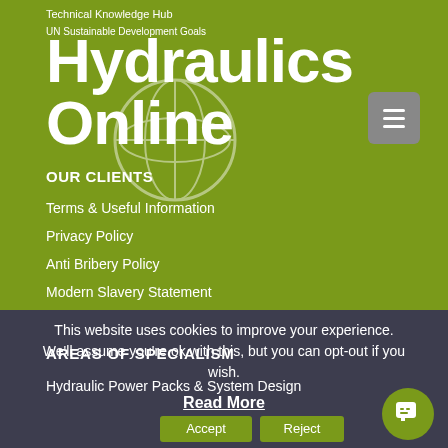Technical Knowledge Hub
UN Sustainable Development Goals
Hydraulics Online
OUR CLIENTS
Terms & Useful Information
Privacy Policy
Anti Bribery Policy
Modern Slavery Statement
Business Partner Code of Conduct
AREAS OF SPECIALISM
Hydraulic Power Packs & System Design
This website uses cookies to improve your experience. We'll assume you're ok with this, but you can opt-out if you wish.
Read More
Accept
Reject